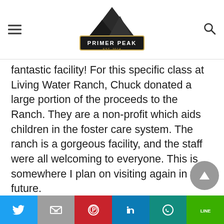Primer Peak — Est. 2014 (logo)
fantastic facility! For this specific class at Living Water Ranch, Chuck donated a large portion of the proceeds to the Ranch. They are a non-profit which aids children in the foster care system. The ranch is a gorgeous facility, and the staff were all welcoming to everyone. This is somewhere I plan on visiting again in the future.
Check out Agile Training & Consulting on Facebook and on their website
[Figure (other): Scroll-to-top circular button with up arrow]
Social share bar: Twitter, Gmail, Pinterest, LinkedIn, WhatsApp, LINE